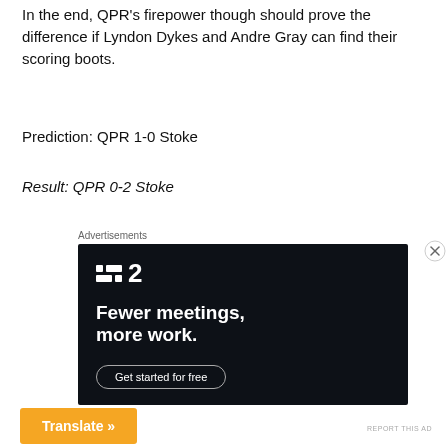In the end, QPR's firepower though should prove the difference if Lyndon Dykes and Andre Gray can find their scoring boots.
Prediction: QPR 1-0 Stoke
Result: QPR 0-2 Stoke
Advertisements
[Figure (other): Advertisement banner for a project management tool showing logo, headline 'Fewer meetings, more work.' and a 'Get started for free' button on dark background]
Advertisements
Translate »